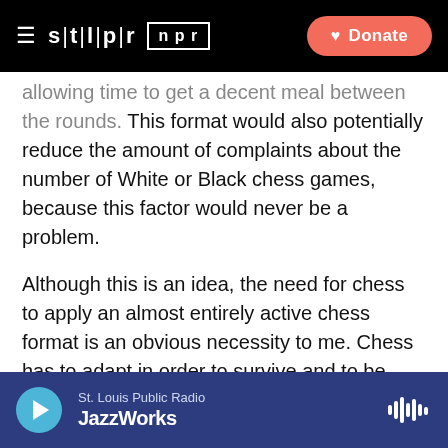≡ stlpr npr [Donate]
allowing time to get a decent meal between the rounds. This format would also potentially reduce the amount of complaints about the number of White or Black chess games, because this factor would never be a problem.
Although this is an idea, the need for chess to apply an almost entirely active chess format is an obvious necessity to me. Chess has to adapt in order to survive and to be actually present on national television and not only broadcast on the internet.
To make chess more mainstream, it needs a lot of love and care, and this is exactly what I witnessed on my first visit to the famous St. Louis Chess Club. I was amazed
St. Louis Public Radio | JazzWorks